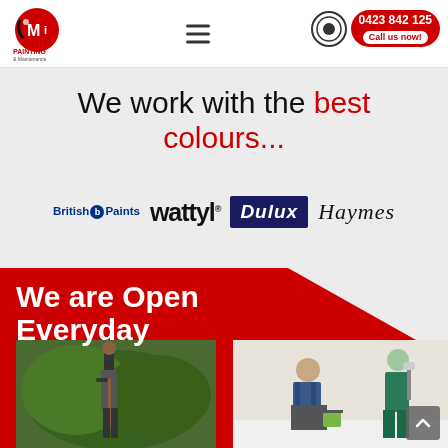[Figure (logo): CMi Painting & Maintenance logo - red circle with bird/letter graphic, text below]
[Figure (illustration): Hamburger menu icon (three horizontal lines)]
[Figure (illustration): Phone call icon with red badge showing 0423 842 125 and Call us now button]
We work with the best colours...
[Figure (logo): Brand logos row: British Paints, Wattyl, Dulux, Haymes]
[Figure (photo): Red banner with We are Open Everyday text, photo of gardener on left, photo of painters on right]